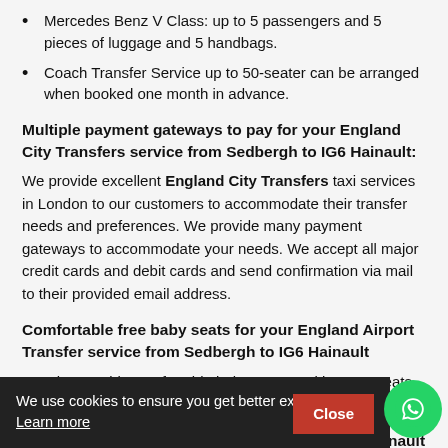Mercedes Benz V Class: up to 5 passengers and 5 pieces of luggage and 5 handbags.
Coach Transfer Service up to 50-seater can be arranged when booked one month in advance.
Multiple payment gateways to pay for your England City Transfers service from Sedbergh to IG6 Hainault:
We provide excellent England City Transfers taxi services in London to our customers to accommodate their transfer needs and preferences. We provide many payment gateways to accommodate your needs. We accept all major credit cards and debit cards and send confirmation via mail to their provided email address.
Comfortable free baby seats for your England Airport Transfer service from Sedbergh to IG6 Hainault
We also provide comfortable baby seats and booster seats free to our customers and there are no extra charges for it.
Get a Quote for transfer from Sedbergh to IG6 Hainault
We use cookies to ensure you get better experience Learn more
...England City Transfers...IG6 Hainault. So book our service and enjoy your stress-free journey. To book our airport taxi services, you can